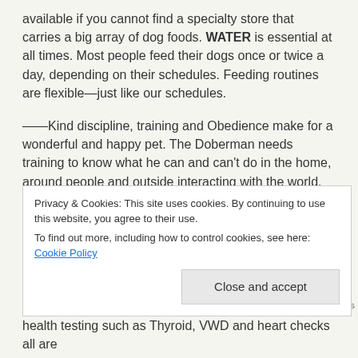available if you cannot find a specialty store that carries a big array of dog foods.  WATER is essential at all times.  Most people feed their dogs once or twice a day, depending on their schedules.   Feeding routines are flexible—just like our schedules.
——Kind discipline, training and Obedience make for a wonderful and happy pet.   The Doberman needs training to know what he can and can't do in the home, around people and outside interacting with the world.  They are intelligent and are easily trained and a joy to live with when properly taught—-but they can be pushy, destructive and a real renegade if not managed and trained.   They are truly like a child—in the respect that  it is up to you, the owner, to see to it that they are
Privacy & Cookies: This site uses cookies. By continuing to use this website, you agree to their use.
To find out more, including how to control cookies, see here: Cookie Policy
[Close and accept]
health testing such as Thyroid, VWD and heart checks all are